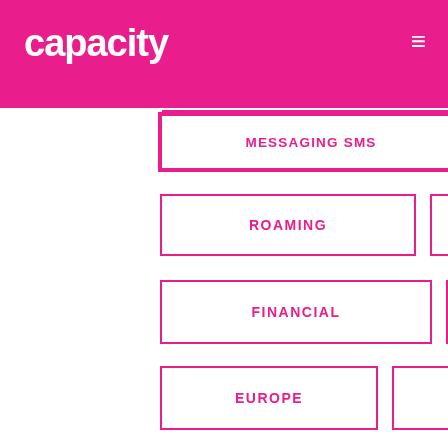capacity
MESSAGING SMS
MOBILE
ROAMING
WIRELESS
FINANCIAL
SIGNALLING
EUROPE
NORTH AMERICA
SERVICES
We use cookies to provide a personalized site experience. By continuing to use & browse the site you agree to our Privacy Policy.
Alan Burkitt-Gray
EDITOR